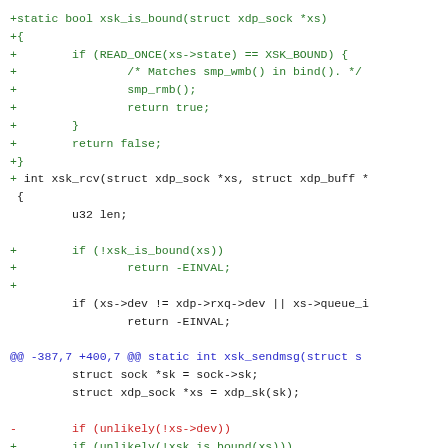[Figure (screenshot): A code diff screenshot showing C source code with added lines (green, prefixed with +), unchanged lines (black), removed lines (red, prefixed with -), and a diff hunk header (blue). The code shows xsk_is_bound() function addition and modifications to xsk_rcv() and xsk_sendmsg() functions.]